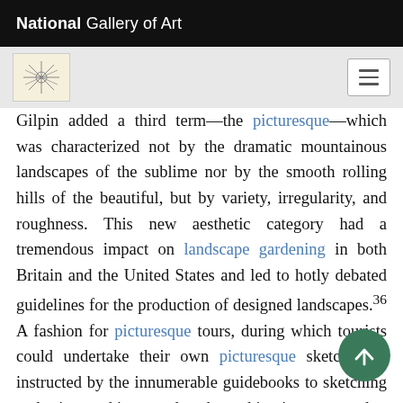National Gallery of Art
Gilpin added a third term—the picturesque—which was characterized not by the dramatic mountainous landscapes of the sublime nor by the smooth rolling hills of the beautiful, but by variety, irregularity, and roughness. This new aesthetic category had a tremendous impact on landscape gardening in both Britain and the United States and led to hotly debated guidelines for the production of designed landscapes.36 A fashion for picturesque tours, during which tourists could undertake their own picturesque sketches as instructed by the innumerable guidebooks to sketching and view-making produced at this time, created a market for souvenir prints of picturesque sites and views [Fig.